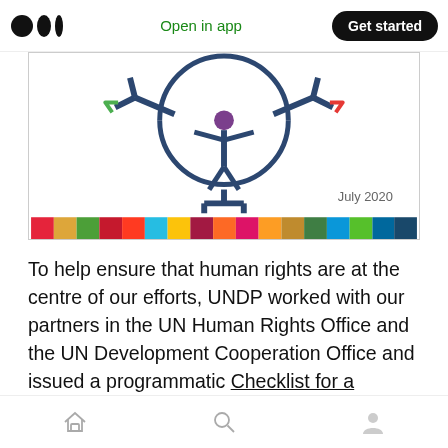Open in app  Get started
[Figure (illustration): Partial view of a UN SDG-related logo or graphic showing colorful human figures or arrows in a circular arrangement, dated July 2020, with an SDG color strip along the bottom.]
To help ensure that human rights are at the centre of our efforts, UNDP worked with our partners in the UN Human Rights Office and the UN Development Cooperation Office and issued a programmatic Checklist for a Human Rights-Based Approach to Socio-Economic Country Responses to COVID-19. This tool provides a list